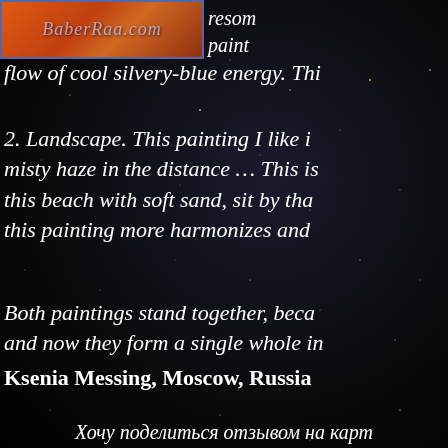[Figure (photo): Orange/red background image with cursive text 'BaberRaa.com' in pinkish script at the top left]
resom paint
flow of cool silvery-blue energy. Thi
2. Landscape. This painting I like i misty haze in the distance … This is this beach with soft sand, sit by tha this painting more harmonizes and
Both paintings stand together, beca and now they form a single whole in
Ksenia Messing, Moscow, Russia
Хочу поделиться отзывом на карт